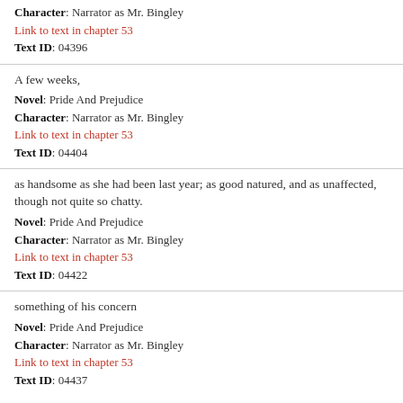Character: Narrator as Mr. Bingley
Link to text in chapter 53
Text ID: 04396
A few weeks,
Novel: Pride And Prejudice
Character: Narrator as Mr. Bingley
Link to text in chapter 53
Text ID: 04404
as handsome as she had been last year; as good natured, and as unaffected, though not quite so chatty.
Novel: Pride And Prejudice
Character: Narrator as Mr. Bingley
Link to text in chapter 53
Text ID: 04422
something of his concern
Novel: Pride And Prejudice
Character: Narrator as Mr. Bingley
Link to text in chapter 53
Text ID: 04437